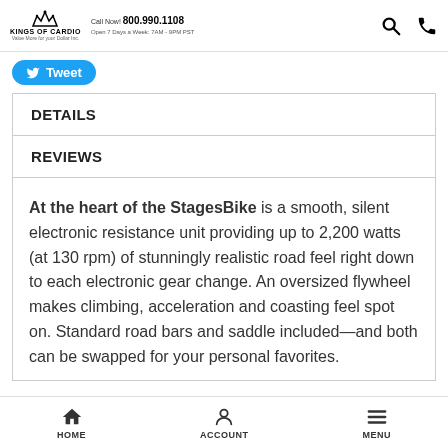KINGS OF CARDIO | Call Now! 800.990.1108 | Open 7 Days a Week: 7AM - 9PM PST
[Figure (other): Tweet button with Twitter bird icon]
DETAILS
REVIEWS
At the heart of the StagesBike is a smooth, silent electronic resistance unit providing up to 2,200 watts (at 130 rpm) of stunningly realistic road feel right down to each electronic gear change. An oversized flywheel makes climbing, acceleration and coasting feel spot on. Standard road bars and saddle included—and both can be swapped for your personal favorites.
HOME   ACCOUNT   MENU